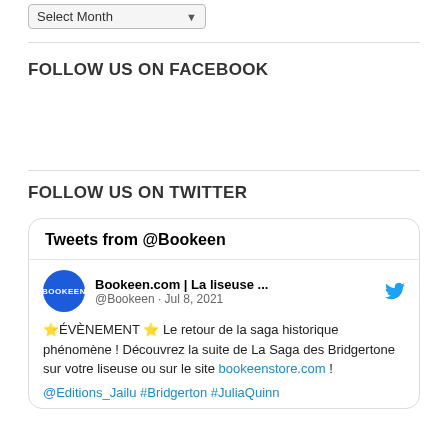[Figure (screenshot): Dropdown selector showing 'Select Month' with a down arrow, styled as a form element]
FOLLOW US ON FACEBOOK
FOLLOW US ON TWITTER
[Figure (screenshot): Embedded Twitter widget card titled 'Tweets from @Bookeen' showing a tweet from Bookeen.com account dated Jul 8, 2021, with text about La Saga des Bridgertone and a link to bookeenstore.com, with hashtags @Editions_Jailu #Bridgerton #JuliaQuinn]